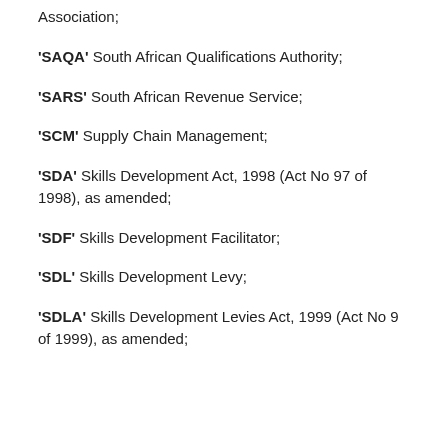Association;
'SAQA' South African Qualifications Authority;
'SARS' South African Revenue Service;
'SCM' Supply Chain Management;
'SDA' Skills Development Act, 1998 (Act No 97 of 1998), as amended;
'SDF' Skills Development Facilitator;
'SDL' Skills Development Levy;
'SDLA' Skills Development Levies Act, 1999 (Act No 9 of 1999), as amended;